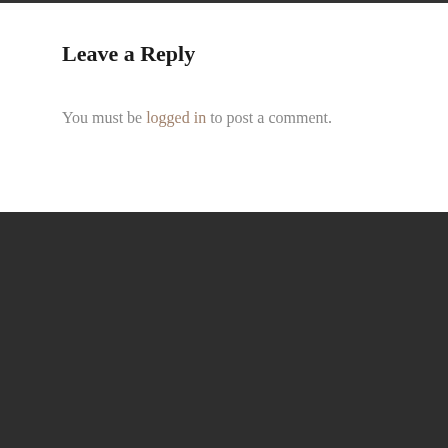Leave a Reply
You must be logged in to post a comment.
[Figure (logo): Indochine Natural brand logo in white script lettering on dark background]
Our Story